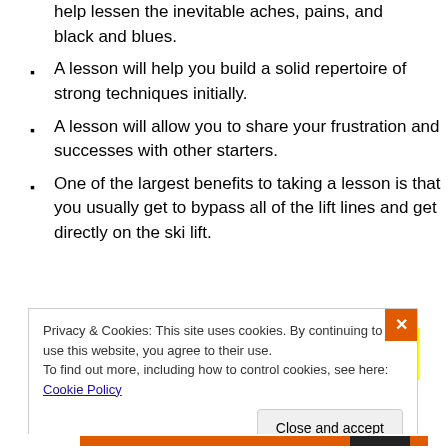help lessen the inevitable aches, pains, and black and blues.
A lesson will help you build a solid repertoire of strong techniques initially.
A lesson will allow you to share your frustration and successes with other starters.
One of the largest benefits to taking a lesson is that you usually get to bypass all of the lift lines and get directly on the ski lift.
[Figure (other): Yellow rectangle banner/advertisement block]
Privacy & Cookies: This site uses cookies. By continuing to use this website, you agree to their use. To find out more, including how to control cookies, see here: Cookie Policy  [Close and accept button]